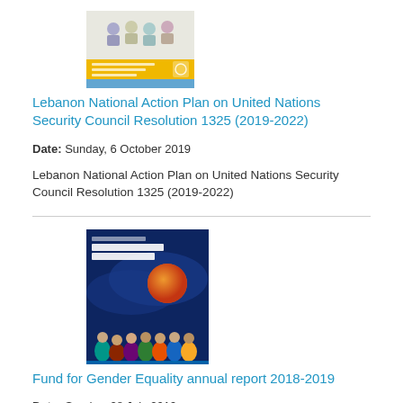[Figure (illustration): Cover of Lebanon National Action Plan document showing illustrated people and a yellow banner]
Lebanon National Action Plan on United Nations Security Council Resolution 1325 (2019-2022)
Date: Sunday, 6 October 2019
Lebanon National Action Plan on United Nations Security Council Resolution 1325 (2019-2022)
[Figure (illustration): Cover of Annual Report 2018-2019 showing colorful silhouettes of women and abstract design elements on dark blue background]
Fund for Gender Equality annual report 2018-2019
Date: Sunday, 28 July 2019
Supported by photos, data, infographics, and individual stories of impact, UN Women's Fund for Gender Equality (FGE) annual report